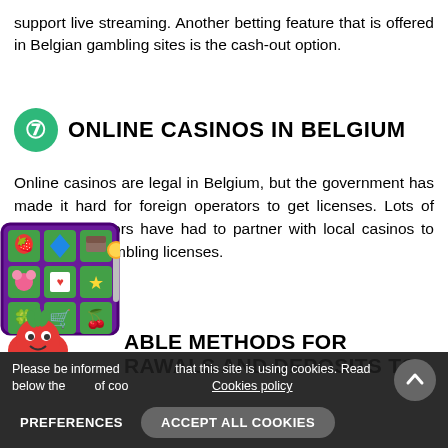support live streaming. Another betting feature that is offered in Belgian gambling sites is the cash-out option.
7 ONLINE CASINOS IN BELGIUM
Online casinos are legal in Belgium, but the government has made it hard for foreign operators to get licenses. Lots of foreign operators have had to partner with local casinos to get Belgian gambling licenses.
AVAILABLE METHODS FOR WITHDRAWALS AND DEPOSITS TO BELGIUM
[Figure (illustration): Slot machine game icon with colorful fruit symbols and a cartoon tomato character]
Please be informed that this site is using cookies. Read below the use of cookies. Cookies policy
PREFERENCES   ACCEPT ALL COOKIES